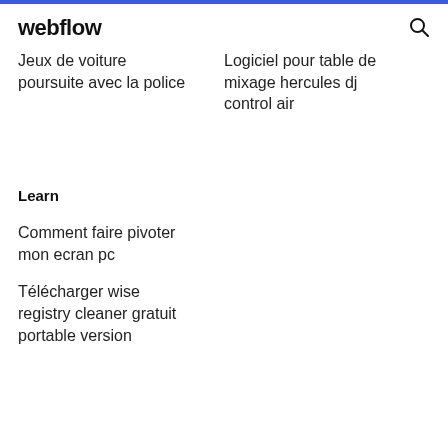webflow
Jeux de voiture poursuite avec la police
Logiciel pour table de mixage hercules dj control air
Learn
Comment faire pivoter mon ecran pc
Télécharger wise registry cleaner gratuit portable version